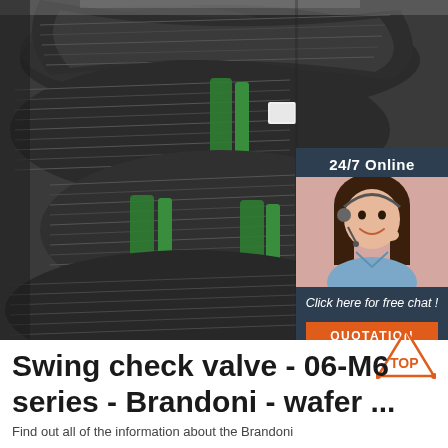[Figure (photo): Bundles of black steel wire rods coiled up in an industrial warehouse, tied with green plastic straps. A customer service sidebar overlays the right portion of the image showing a woman wearing a headset with text '24/7 Online', 'Click here for free chat!', and a 'QUOTATION' button.]
Swing check valve - 06-M6 series - Brandoni - wafer ...
Find out all of the information about the Brandoni